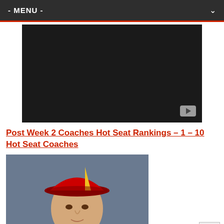- MENU -
[Figure (screenshot): Embedded video player with dark background and YouTube play button in bottom-right corner]
Post Week 2 Coaches Hot Seat Rankings – 1 – 10 Hot Seat Coaches
[Figure (photo): Close-up photo of a football coach wearing a red and yellow Iowa State cap, looking to the side]